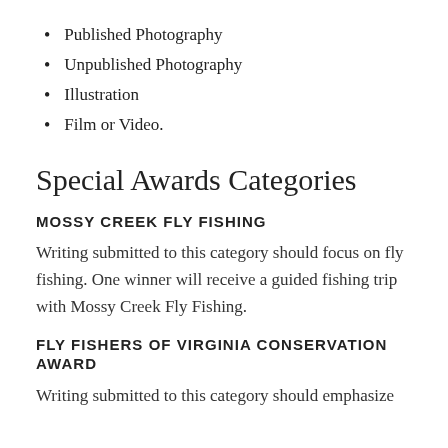Published Photography
Unpublished Photography
Illustration
Film or Video.
Special Awards Categories
MOSSY CREEK FLY FISHING
Writing submitted to this category should focus on fly fishing. One winner will receive a guided fishing trip with Mossy Creek Fly Fishing.
FLY FISHERS OF VIRGINIA CONSERVATION AWARD
Writing submitted to this category should emphasize